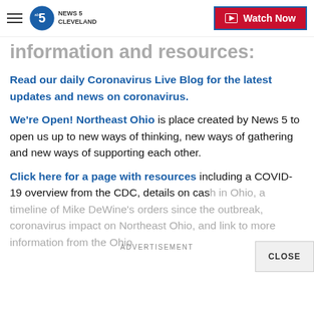NEWS 5 CLEVELAND | Watch Now
information and resources:
Read our daily Coronavirus Live Blog for the latest updates and news on coronavirus.
We're Open! Northeast Ohio is place created by News 5 to open us up to new ways of thinking, new ways of gathering and new ways of supporting each other.
Click here for a page with resources including a COVID-19 overview from the CDC, details on cas in Ohio, a timeline of Mike DeWine's orders since the outbreak, coronavirus impact on Northeast Ohio, and link to more information from the Ohio